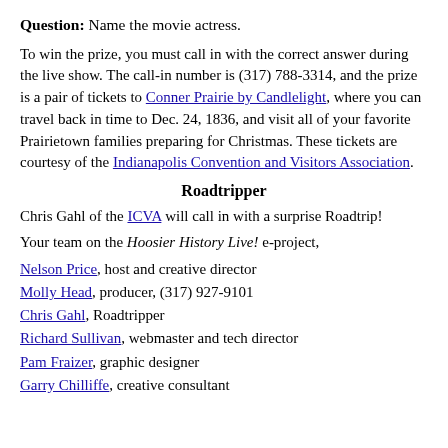Question: Name the movie actress.
To win the prize, you must call in with the correct answer during the live show. The call-in number is (317) 788-3314, and the prize is a pair of tickets to Conner Prairie by Candlelight, where you can travel back in time to Dec. 24, 1836, and visit all of your favorite Prairietown families preparing for Christmas. These tickets are courtesy of the Indianapolis Convention and Visitors Association.
Roadtripper
Chris Gahl of the ICVA will call in with a surprise Roadtrip!
Your team on the Hoosier History Live! e-project,
Nelson Price, host and creative director
Molly Head, producer, (317) 927-9101
Chris Gahl, Roadtripper
Richard Sullivan, webmaster and tech director
Pam Fraizer, graphic designer
Garry Chilliffe, creative consultant